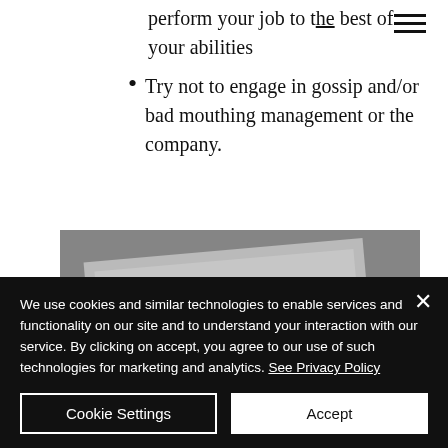perform your job to the best of your abilities
Try not to engage in gossip and/or bad mouthing management or the company.
[Figure (photo): Black and white photo of a hand holding a pen over a document/ledger with handwritten text.]
We use cookies and similar technologies to enable services and functionality on our site and to understand your interaction with our service. By clicking on accept, you agree to our use of such technologies for marketing and analytics. See Privacy Policy
Cookie Settings
Accept